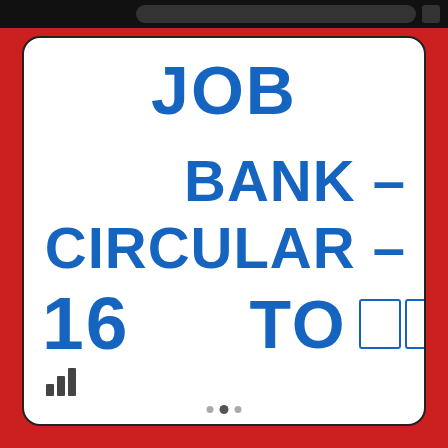JOB BANK – CIRCULAR – 16 TO ☐☐☐☐☐☐